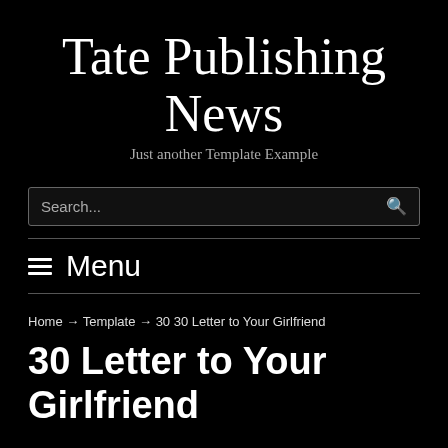Tate Publishing News
Just another Template Example
Search...
≡ Menu
Home → Template → 30 30 Letter to Your Girlfriend
30 Letter to Your Girlfriend